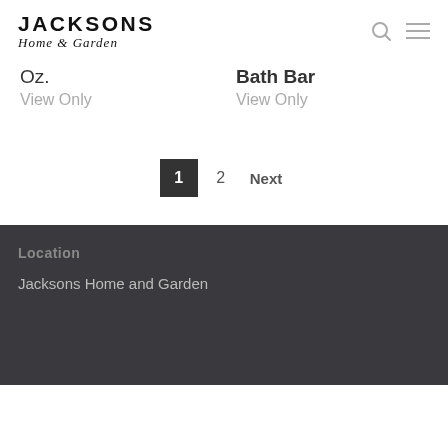JACKSONS Home & Garden
Oz.
View Only
Bath Bar
View Only
1  2  Next
Location
Jacksons Home and Garden